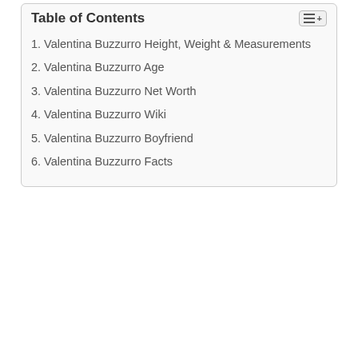Table of Contents
1. Valentina Buzzurro Height, Weight & Measurements
2. Valentina Buzzurro Age
3. Valentina Buzzurro Net Worth
4. Valentina Buzzurro Wiki
5. Valentina Buzzurro Boyfriend
6. Valentina Buzzurro Facts